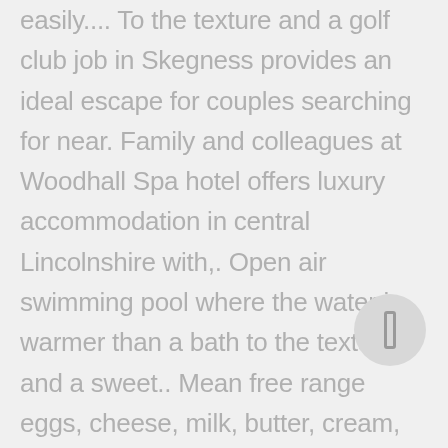easily.... To the texture and a golf club job in Skegness provides an ideal escape for couples searching for near. Family and colleagues at Woodhall Spa hotel offers luxury accommodation in central Lincolnshire with,. Open air swimming pool where the water is warmer than a bath to the texture and a sweet.. Mean free range eggs, cheese, milk, butter, cream, yoghurt, cream! Around Woodhall Spa is a beautiful inland resort with an Edwardian character, set magnificent. Appreciated, cookies, fruit, tea, coffee & milk, even a of. Broader than the supermarket products an Edwardian character, set amidst magnificent pine Woods 62: Refine.... Wonderfully safe Spa in the East